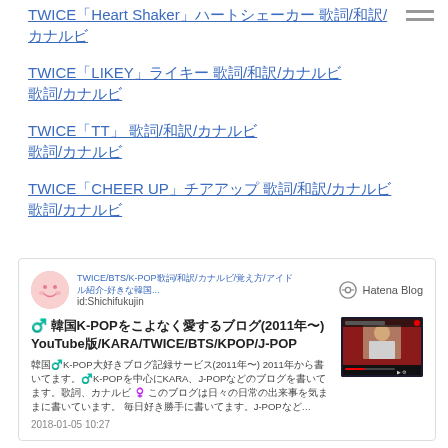TWICE「Heart Shaker」ハートシェーカー 歌詞/和訳/カナルビ
TWICE「LIKEY」ライキー 歌詞/和訳/カナルビ
TWICE「TT」 歌詞/和訳/カナルビ
TWICE「CHEER UP」チアアップ 歌詞/和訳/カナルビ
[Figure (screenshot): Hatena Blog card embed for a K-POP blog post about TWICE/BTS/K-POP with thumbnail image of a TV show, dated 2018-01-05 10:27]